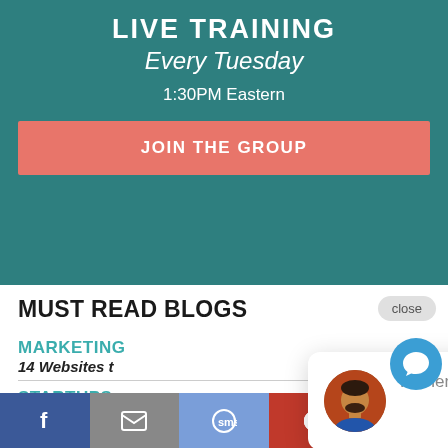LIVE TRAINING
Every Tuesday
1:30PM Eastern
JOIN THE GROUP
MUST READ BLOGS
close
MARKETING
14 Websites t
STARTUPS
Five marketing strategies for wedding planning and business startups.
[Figure (screenshot): Chat popup with avatar saying: Hi there, have a question about our programs or book a call? Text us here.]
[Figure (infographic): Social share bar at bottom with Facebook, Email, SMS, Pinterest, and chat bubble icons]